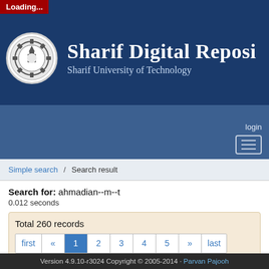[Figure (logo): Sharif University of Technology gear/cog logo emblem in white on dark blue header background]
Sharif Digital Reposi
Sharif University of Technology
login
Simple search / Search result
Search for: ahmadian--m--t
0.012 seconds
Total 260 records
first « 1 2 3 4 5 » last
Sort by: Type | Title | Author | Publisher | Pub. Year | Subjects | Call Number
Version 4.9.10-r3024 Copyright © 2005-2014 · Parvan Pajooh